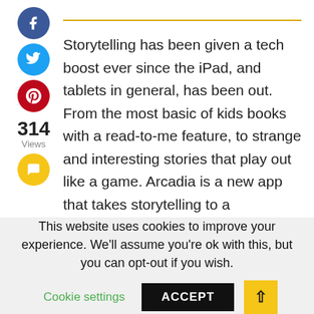[Figure (infographic): Social sharing sidebar with Facebook (blue circle with f), Twitter (cyan circle with bird), Pinterest (red circle with p), and a yellow comment/chat circle icon, plus a view count showing 314 Views]
Storytelling has been given a tech boost ever since the iPad, and tablets in general, has been out. From the most basic of kids books with a read-to-me feature, to strange and interesting stories that play out like a game. Arcadia is a new app that takes storytelling to a
This website uses cookies to improve your experience. We'll assume you're ok with this, but you can opt-out if you wish.